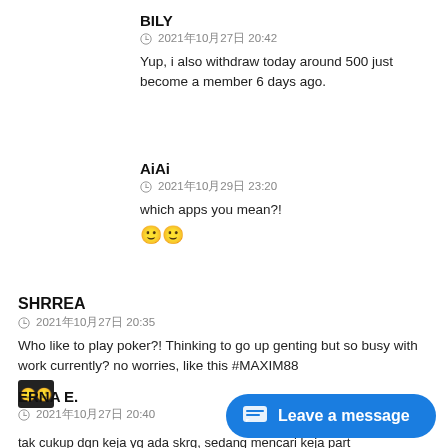BILY
🕐 2021年10月27日 20:42
Yup, i also withdraw today around 500 just become a member 6 days ago.
AiAi
🕐 2021年10月29日 23:20
which apps you mean?!
🙂🙂
SHRREA
🕐 2021年10月27日 20:35
Who like to play poker?! Thinking to go up genting but so busy with work currently? no worries, like this #MAXIM88
🙂🙂
ERNA E.
🕐 2021年10月27日 20:40
tak cukup dgn keja yg ada skrg, sedang mencari keja part
Leave a message